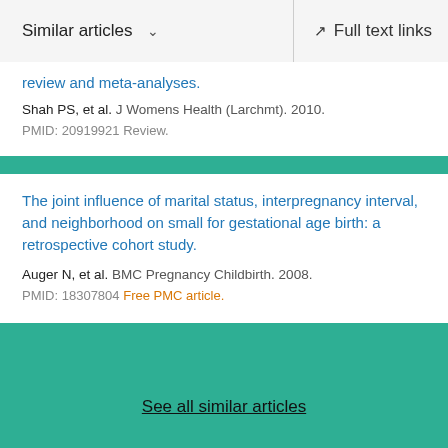Similar articles  ∨    Full text links
review and meta-analyses.
Shah PS, et al. J Womens Health (Larchmt). 2010.
PMID: 20919921 Review.
The joint influence of marital status, interpregnancy interval, and neighborhood on small for gestational age birth: a retrospective cohort study.
Auger N, et al. BMC Pregnancy Childbirth. 2008.
PMID: 18307804 Free PMC article.
See all similar articles